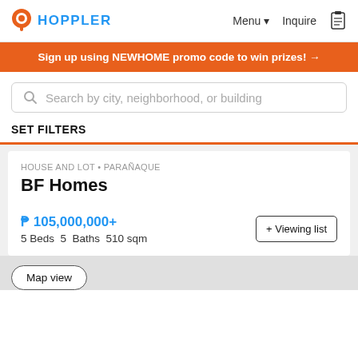HOPPLER  Menu ▾  Inquire
Sign up using NEWHOME promo code to win prizes! →
Search by city, neighborhood, or building
SET FILTERS
HOUSE AND LOT • PARAÑAQUE
BF Homes
₱ 105,000,000+
5 Beds  5  Baths  510 sqm
+ Viewing list
Map view